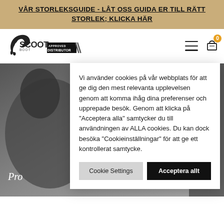VÅR STORLEKSGUIDE - LÅT OSS GUIDA ER TILL RÄTT STORLEK; KLICKA HÄR
[Figure (logo): Scoot Boot Approved Distributor logo with horse silhouette]
[Figure (photo): Background photo of a horse or rider, partially visible behind cookie consent dialog. Text 'Pro' visible at bottom left.]
Vi använder cookies på vår webbplats för att ge dig den mest relevanta upplevelsen genom att komma ihåg dina preferenser och upprepade besök. Genom att klicka på "Acceptera alla" samtycker du till användningen av ALLA cookies. Du kan dock besöka "Cookieinställningar" för att ge ett kontrollerat samtycke.
Cookie Settings  Acceptera allt